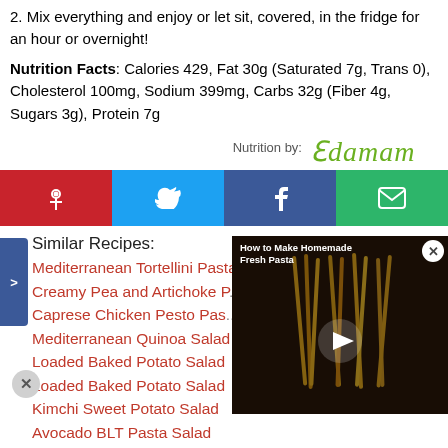2. Mix everything and enjoy or let sit, covered, in the fridge for an hour or overnight!
Nutrition Facts: Calories 429, Fat 30g (Saturated 7g, Trans 0), Cholesterol 100mg, Sodium 399mg, Carbs 32g (Fiber 4g, Sugars 3g), Protein 7g
[Figure (logo): Edamam nutrition logo with script text]
[Figure (infographic): Social share bar with Pinterest, Twitter, Facebook, and Email buttons]
Similar Recipes:
Mediterranean Tortellini Pasta Salad
Creamy Pea and Artichoke P... Pasta Salad
Caprese Chicken Pesto Pas...
Mediterranean Quinoa Salad
Loaded Baked Potato Salad
Loaded Baked Potato Salad
Kimchi Sweet Potato Salad
Avocado BLT Pasta Salad
Warm German Potato Salad
Blue Cheese and Bacon Potato Salad
Bacon Pimento Cheese Potato Salad
[Figure (screenshot): Video overlay: How to Make Homemade Fresh Pasta, showing pasta hanging to dry]